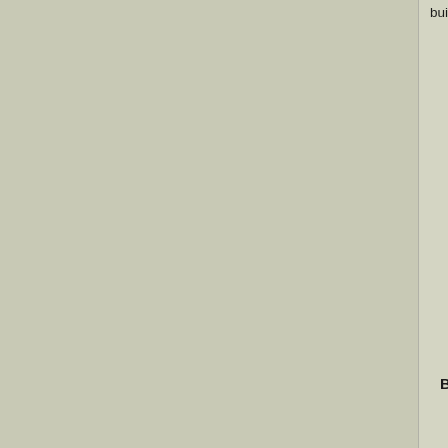building, was seen to get over the hoarding w
B
William Thompson, a tram-car conductor, liv commit suicide by swallowing a quantity of c him.
The Commissioners of Police have sancti division, on a pension of £130 per annum, c has an excellent record, and has been sever
A